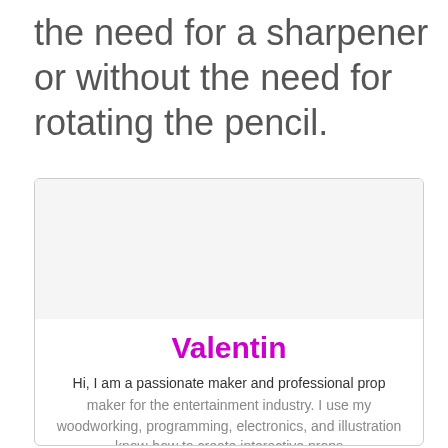the need for a sharpener or without the need for rotating the pencil.
[Figure (other): A user profile card with avatar area, name 'Valentin' in magenta, and bio text about being a passionate maker and professional prop maker for the entertainment industry.]